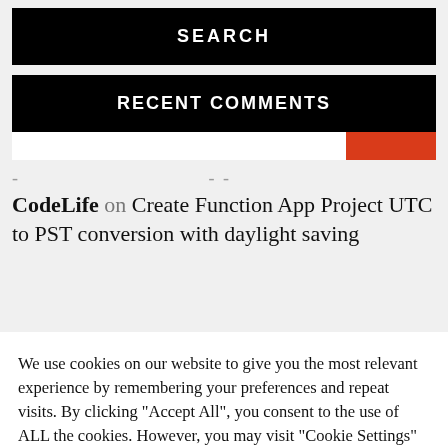SEARCH
RECENT COMMENTS
- CodeLife on Create Function App Project UTC to PST conversion with daylight saving
We use cookies on our website to give you the most relevant experience by remembering your preferences and repeat visits. By clicking "Accept All", you consent to the use of ALL the cookies. However, you may visit "Cookie Settings" to provide a controlled consent.
Cookie Settings
Accept All